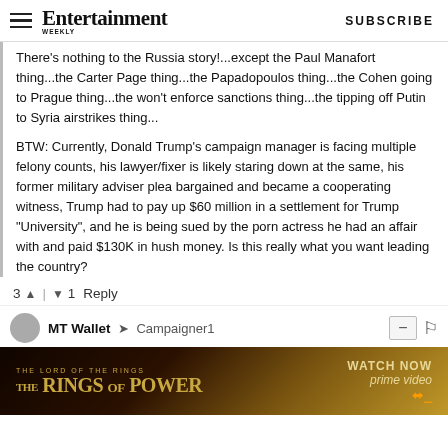Entertainment Weekly — SUBSCRIBE
There's nothing to the Russia story!...except the Paul Manafort thing...the Carter Page thing...the Papadopoulos thing...the Cohen going to Prague thing...the won't enforce sanctions thing...the tipping off Putin to Syria airstrikes thing...
BTW: Currently, Donald Trump's campaign manager is facing multiple felony counts, his lawyer/fixer is likely staring down at the same, his former military adviser plea bargained and became a cooperating witness, Trump had to pay up $60 million in a settlement for Trump "University", and he is being sued by the porn actress he had an affair with and paid $130K in hush money. Is this really what you want leading the country?
3 ▲ | ▼ 1 Reply
MT Wallet → Campaigner1
[Figure (screenshot): The Lord of the Rings: The Rings of Power — Watch Now on Prime Video advertisement banner]